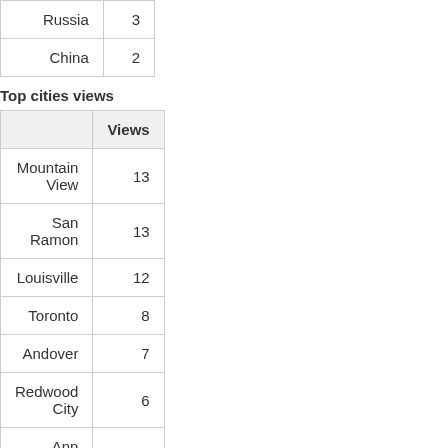|  |  |
| --- | --- |
| Russia | 3 |
| China | 2 |
Top cities views
|  | Views |
| --- | --- |
| Mountain View | 13 |
| San Ramon | 13 |
| Louisville | 12 |
| Toronto | 8 |
| Andover | 7 |
| Redwood City | 6 |
| Ann Arbor | 5 |
| Kiev | 5 |
| Kraków | 4 |
| West Chester | 4 |